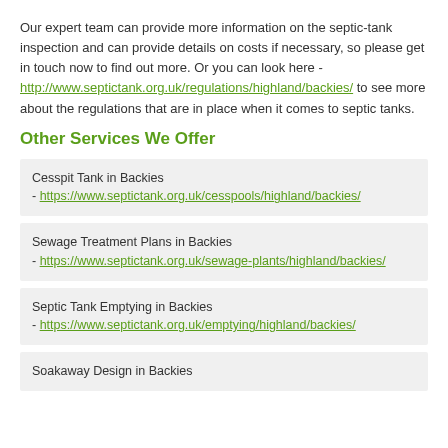Our expert team can provide more information on the septic-tank inspection and can provide details on costs if necessary, so please get in touch now to find out more. Or you can look here - http://www.septictank.org.uk/regulations/highland/backies/ to see more about the regulations that are in place when it comes to septic tanks.
Other Services We Offer
Cesspit Tank in Backies - https://www.septictank.org.uk/cesspools/highland/backies/
Sewage Treatment Plans in Backies - https://www.septictank.org.uk/sewage-plants/highland/backies/
Septic Tank Emptying in Backies - https://www.septictank.org.uk/emptying/highland/backies/
Soakaway Design in Backies